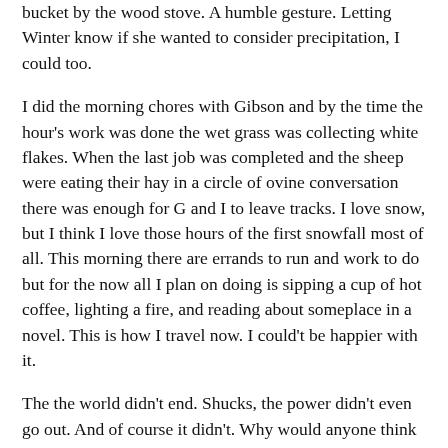bucket by the wood stove. A humble gesture. Letting Winter know if she wanted to consider precipitation, I could too.
I did the morning chores with Gibson and by the time the hour's work was done the wet grass was collecting white flakes. When the last job was completed and the sheep were eating their hay in a circle of ovine conversation there was enough for G and I to leave tracks. I love snow, but I think I love those hours of the first snowfall most of all. This morning there are errands to run and work to do but for the now all I plan on doing is sipping a cup of hot coffee, lighting a fire, and reading about someplace in a novel. This is how I travel now. I could't be happier with it.
The the world didn't end. Shucks, the power didn't even go out. And of course it didn't. Why would anyone think the world would end on the Winter Solstice? I have respect for he Mayan people, but that was a true act of confundity. The Solstice is one of our oldest holidays of hope - the literal return of the sun. For thousands of years people of so many cultures and religions have organized all of their celebrations of rebirth, hope, and light at this time. What a beautiful thing